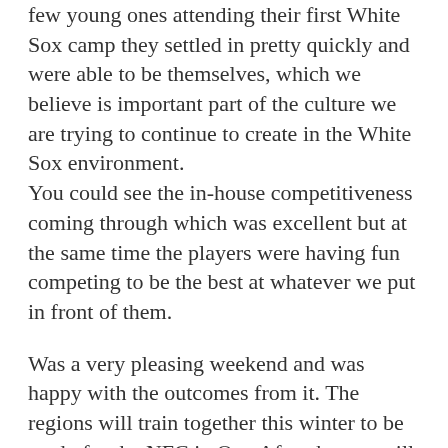few young ones attending their first White Sox camp they settled in pretty quickly and were able to be themselves, which we believe is important part of the culture we are trying to continue to create in the White Sox environment.
You could see the in-house competitiveness coming through which was excellent but at the same time the players were having fun competing to be the best at whatever we put in front of them.
Was a very pleasing weekend and was happy with the outcomes from it. The regions will train together this winter to be ready for the NFC in Oct. After that we will look to name a team to tour Australia at the end of the year, to get some well needed games under our belts as we prepare for a World Cup Qualifier in 2023.
With the last year or so being so difficult there has been some athletes who have decided to take a break from our programme for their own personal reasons so think it is a good idea to confirm the current squad